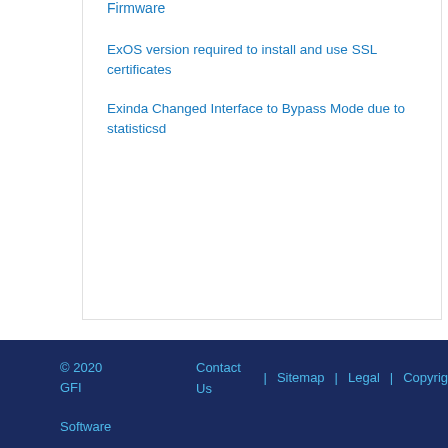Firmware
ExOS version required to install and use SSL certificates
Exinda Changed Interface to Bypass Mode due to statisticsd
© 2020 GFI Software   Contact Us  |  Sitemap  |  Legal  |  Copyrig...